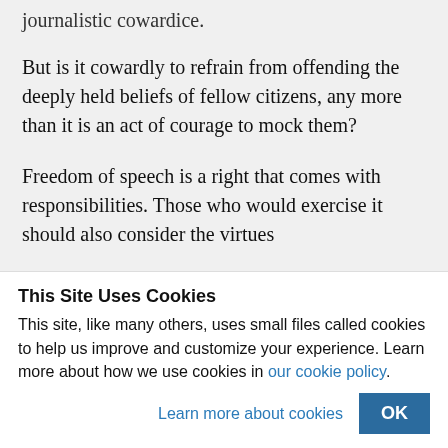journalistic cowardice.
But is it cowardly to refrain from offending the deeply held beliefs of fellow citizens, any more than it is an act of courage to mock them?
Freedom of speech is a right that comes with responsibilities. Those who would exercise it should also consider the virtues
This Site Uses Cookies
This site, like many others, uses small files called cookies to help us improve and customize your experience. Learn more about how we use cookies in our cookie policy.
Learn more about cookies
OK